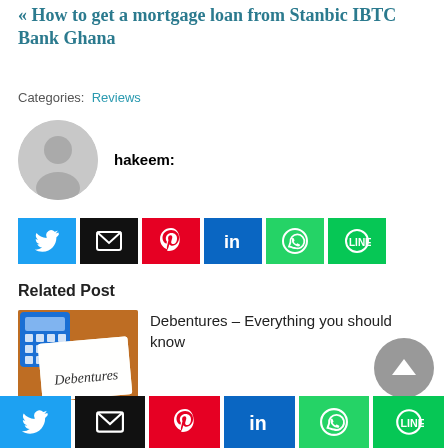« How to get a mortgage loan from Stanbic IBTC Bank Ghana
Categories: Reviews
hakeem:
[Figure (infographic): Social share buttons row: Twitter (blue), Email (black), Pinterest (red), LinkedIn (blue), WhatsApp (green), LINE (green)]
Related Post
[Figure (photo): Photo of a notepad with 'Debentures' written on it, next to a blue calculator]
Debentures – Everything you should know
[Figure (infographic): Bottom social share buttons row: Twitter (blue), Email (black), Pinterest (red), LinkedIn (blue), WhatsApp (green), LINE (green)]